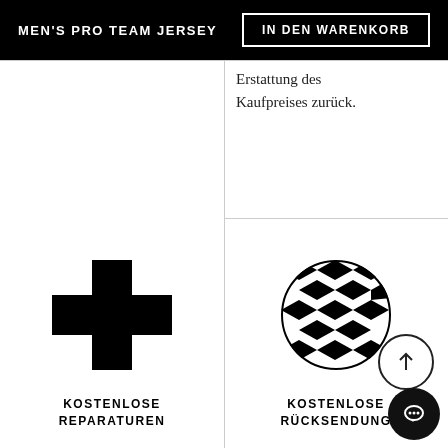MEN'S PRO TEAM JERSEY
IN DEN WARENKORB
Erstattung des Kaufpreises zurück.
[Figure (illustration): Black cross / plus icon representing repairs]
KOSTENLOSE REPARATUREN
Stürze kommen vor. Wenn du einen hast, reparieren wir kostenlos
[Figure (illustration): Circular geometric chevron pattern icon representing free returns]
KOSTENLOSE RÜCKSENDUNG
Alle Bestellungen bei Rapha können binnen 90 Tagen gegen